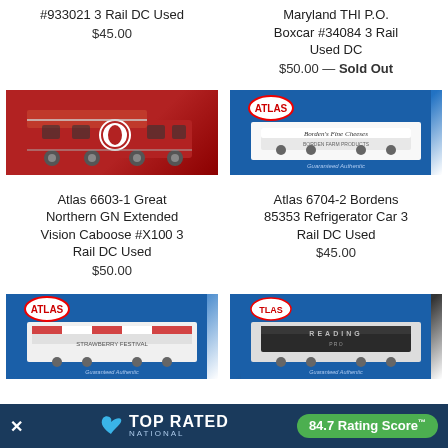#933021 3 Rail DC Used
$45.00
Maryland THI P.O. Boxcar #34084 3 Rail Used DC
$50.00 — Sold Out
[Figure (photo): Red Atlas Great Northern GN extended vision caboose model train car with a white circle logo on the side, in packaging]
[Figure (photo): Atlas 6704-2 Bordens refrigerator car in blue Atlas box packaging labeled Borden's Fine Cheeses]
Atlas 6603-1 Great Northern GN Extended Vision Caboose #X100 3 Rail DC Used
$50.00
Atlas 6704-2 Bordens 85353 Refrigerator Car 3 Rail DC Used
$45.00
[Figure (photo): Atlas model train car in blue Atlas packaging, bottom left, partially visible]
[Figure (photo): Atlas model Reading train car in blue Atlas packaging, bottom right, partially visible]
TOP RATED NATIONAL — 84.7 Rating Score™